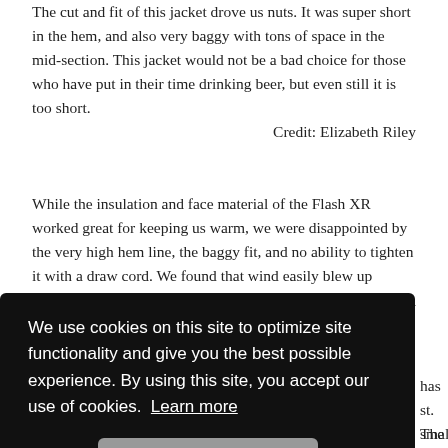The cut and fit of this jacket drove us nuts. It was super short in the hem, and also very baggy with tons of space in the mid-section. This jacket would not be a bad choice for those who have put in their time drinking beer, but even still it is too short. Credit: Elizabeth Riley
While the insulation and face material of the Flash XR worked great for keeping us warm, we were disappointed by the very high hem line, the baggy fit, and no ability to tighten it with a draw cord. We found that wind easily blew up underneath this jacket to make us cold.
eth Riley
We use cookies on this site to optimize site functionality and give you the best possible experience. By using this site, you accept our use of cookies. Learn more
has
st. The
small
o
back. We find the hood to be well fitting in terms of warmth,